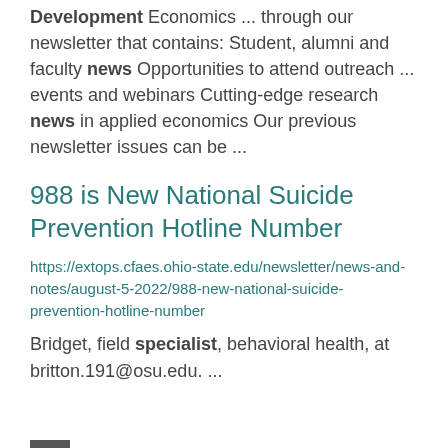Development Economics ... through our newsletter that contains: Student, alumni and faculty news Opportunities to attend outreach ... events and webinars Cutting-edge research news in applied economics Our previous newsletter issues can be ...
988 is New National Suicide Prevention Hotline Number
https://extops.cfaes.ohio-state.edu/newsletter/news-and-notes/august-5-2022/988-new-national-suicide-prevention-hotline-number
Bridget, field specialist, behavioral health, at britton.191@osu.edu. ...